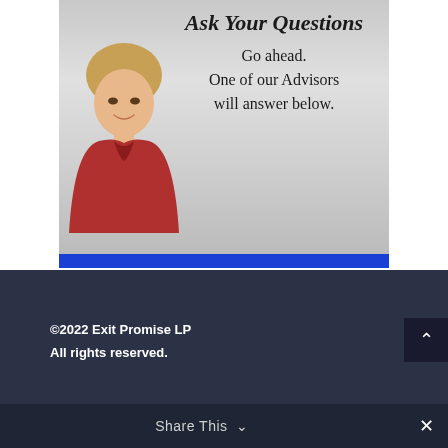[Figure (illustration): Banner image showing a woman smiling with script text 'Ask Your Questions Go ahead. One of our Advisors will answer below.' with a blue bar at the bottom]
©2022 Exit Promise LP
All rights reserved.
888 803-3677
Share This ∨